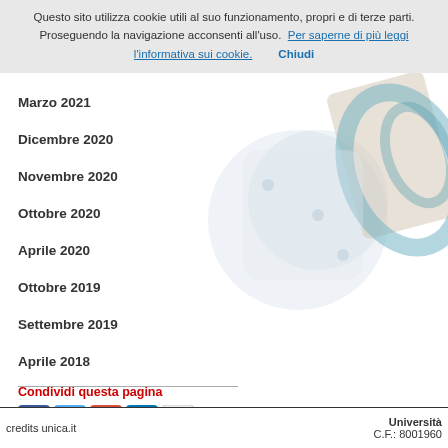Questo sito utilizza cookie utili al suo funzionamento, propri e di terze parti. Proseguendo la navigazione acconsenti all'uso.  Per saperne di più leggi l'informativa sui cookie.      Chiudi
Marzo 2021
Dicembre 2020
Novembre 2020
Ottobre 2020
Aprile 2020
Ottobre 2019
Settembre 2019
Aprile 2018
[Figure (illustration): Decorative background image of dice and a book/card with teal graphic design elements]
Condividi questa pagina
[Figure (infographic): Social media share icons: Facebook, Twitter, Google+, LinkedIn, Email]
credits unica.it                                                          Università   C.F.: 8001960